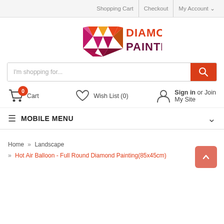Shopping Cart | Checkout | My Account
[Figure (logo): Diamond Painting logo with geometric diamond shape in orange, magenta, and deep red/purple, with DIAMOND PAINTING text]
I'm shopping for...
0 Cart   Wish List (0)   Sign in or Join My Site
MOBILE MENU
Home » Landscape » Hot Air Balloon - Full Round Diamond Painting(85x45cm)